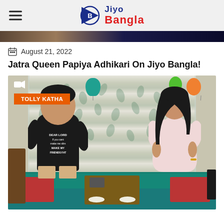Jiyo Bangla
[Figure (photo): Top image strip showing partial colorful background]
August 21, 2022
Jatra Queen Papiya Adhikari On Jiyo Bangla!
[Figure (photo): Video thumbnail showing two people standing in a decorated room with colorful balloons, curtains, and a sofa. Badge reads TOLLY KATHA.]